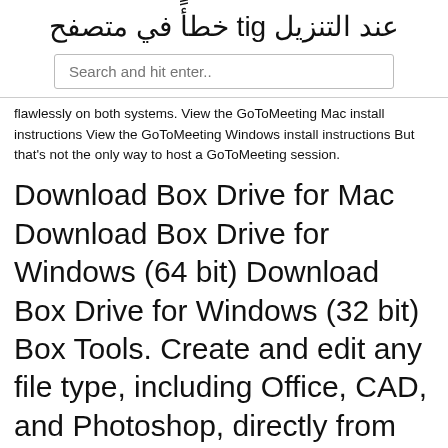عند التنزيل git خطأً في متصفح
[Figure (screenshot): Search input box with placeholder text 'Search and hit enter..']
flawlessly on both systems. View the GoToMeeting Mac install instructions View the GoToMeeting Windows install instructions But that's not the only way to host a GoToMeeting session.
Download Box Drive for Mac Download Box Drive for Windows (64 bit) Download Box Drive for Windows (32 bit) Box Tools. Create and edit any file type, including Office, CAD, and Photoshop, directly from your web browser. Use the default application installed on your …
The advantages of the browser Safari. Download Safari